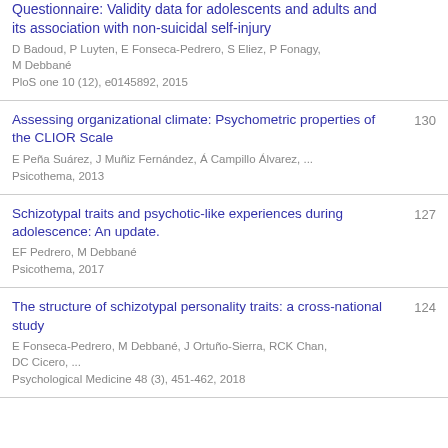The French Version of the Reflective Functioning Questionnaire: Validity data for adolescents and adults and its association with non-suicidal self-injury | D Badoud, P Luyten, E Fonseca-Pedrero, S Eliez, P Fonagy, M Debbané | PloS one 10 (12), e0145892, 2015
Assessing organizational climate: Psychometric properties of the CLIOR Scale | E Peña Suárez, J Muñiz Fernández, Á Campillo Álvarez, ... | Psicothema, 2013 | 130
Schizotypal traits and psychotic-like experiences during adolescence: An update. | EF Pedrero, M Debbané | Psicothema, 2017 | 127
The structure of schizotypal personality traits: a cross-national study | E Fonseca-Pedrero, M Debbané, J Ortuño-Sierra, RCK Chan, DC Cicero, ... | Psychological Medicine 48 (3), 451-462, 2018 | 124